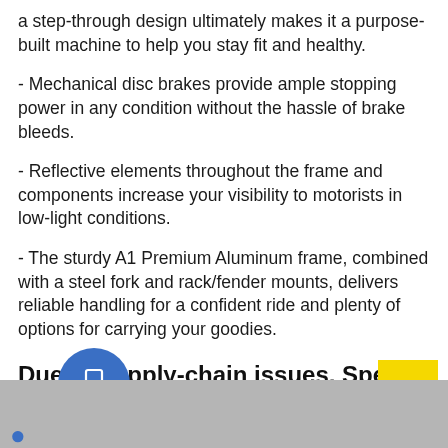a step-through design ultimately makes it a purpose-built machine to help you stay fit and healthy.
- Mechanical disc brakes provide ample stopping power in any condition without the hassle of brake bleeds.
- Reflective elements throughout the frame and components increase your visibility to motorists in low-light conditions.
- The sturdy A1 Premium Aluminum frame, combined with a steel fork and rack/fender mounts, delivers reliable handling for a confident ride and plenty of options for carrying your goodies.
Due to supply-chain issues, Specs are subject to change without notice.
[Figure (illustration): Blue circle with smartphone/tablet icon and yellow square with upward arrow (back-to-top button), on a gray footer bar]
Contact